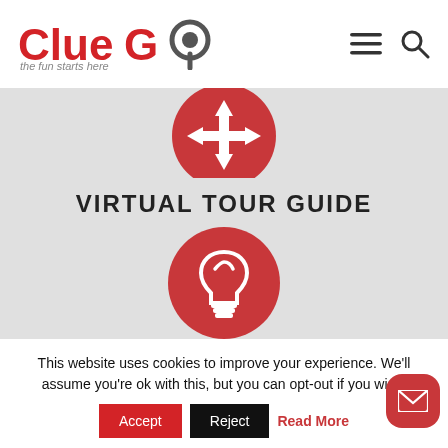[Figure (logo): ClueGo logo with tagline 'the fun starts here' — 'Clue' and 'Go' in red with a grey circle for the O, pin shape]
[Figure (illustration): Two red circles on grey background — top one with a white arrow/move icon, bottom one with a white lightbulb icon — with VIRTUAL TOUR GUIDE text in between]
VIRTUAL TOUR GUIDE
This website uses cookies to improve your experience. We'll assume you're ok with this, but you can opt-out if you wish.
Accept   Reject   Read More